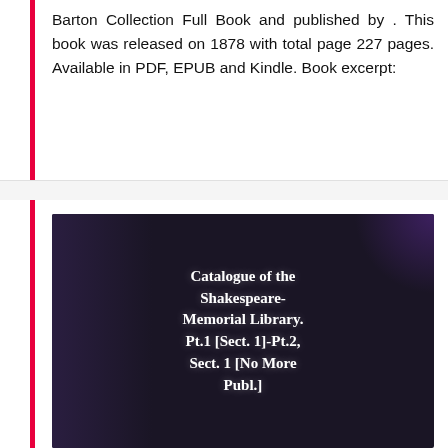Barton Collection Full Book and published by . This book was released on 1878 with total page 227 pages. Available in PDF, EPUB and Kindle. Book excerpt:
[Figure (photo): Dark book cover image showing the title 'Catalogue of the Shakespeare-Memorial Library. Pt.1 [Sect. 1]-Pt.2, Sect. 1 [No More Publ.]' in white bold serif text on a dark navy/purple background.]